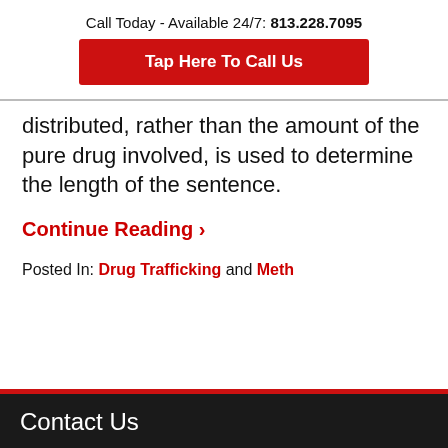Call Today - Available 24/7: 813.228.7095
Tap Here To Call Us
distributed, rather than the amount of the pure drug involved, is used to determine the length of the sentence.
Continue Reading ›
Posted In: Drug Trafficking and Meth
Contact Us